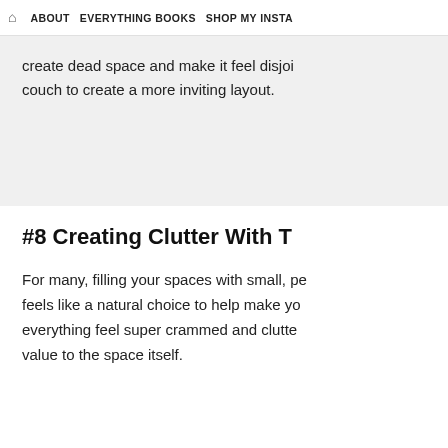ABOUT   EVERYTHING BOOKS   SHOP MY INSTA
create dead space and make it feel disjoin… couch to create a more inviting layout.
#8 Creating Clutter With T…
For many, filling your spaces with small, pe… feels like a natural choice to help make yo… everything feel super crammed and clutte… value to the space itself.